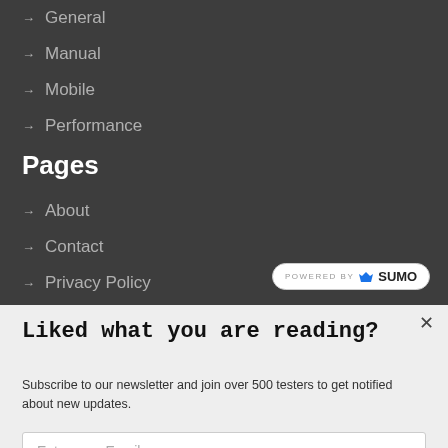→ General
→ Manual
→ Mobile
→ Performance
Pages
→ About
→ Contact
→ Privacy Policy
[Figure (logo): POWERED BY SUMO badge with crown icon]
Liked what you are reading?
Subscribe to our newsletter and join over 500 testers to get notified about new updates.
Enter your Email
Subscribe Now